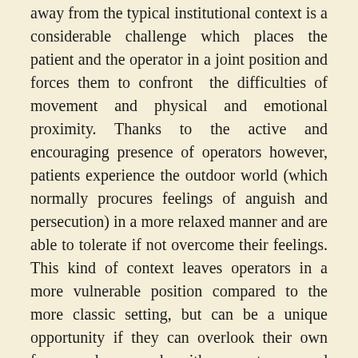away from the typical institutional context is a considerable challenge which places the patient and the operator in a joint position and forces them to confront the difficulties of movement and physical and emotional proximity. Thanks to the active and encouraging presence of operators however, patients experience the outdoor world (which normally procures feelings of anguish and persecution) in a more relaxed manner and are able to tolerate if not overcome their feelings. This kind of context leaves operators in a more vulnerable position compared to the more classic setting, but can be a unique opportunity if they can overlook their own fears and proceed with acceptance and tolerance.
The paper by Bello et al. puts forth the perspective of a psychiatric ward where patients are often conducted against their own will either because they refuse treatment or because their suffering cannot be managed elsewhere. The authors explain the complex and vital institutional